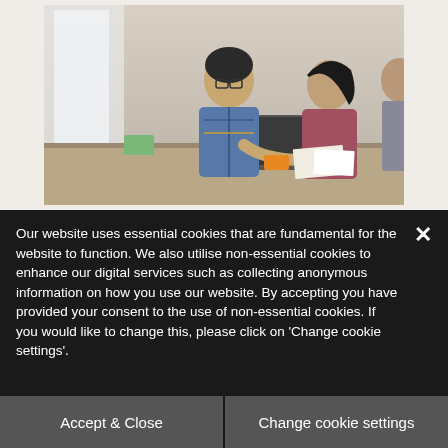[Figure (photo): Two people collaborating at a desk with laptops and papers, in what appears to be a modern workspace or studio. A man wearing glasses leans in to assist a woman, both looking at materials on the table.]
Our website uses essential cookies that are fundamental for the website to function. We also utilise non-essential cookies to enhance our digital services such as collecting anonymous information on how you use our website. By accepting you have provided your consent to the use of non-essential cookies. If you would like to change this, please click on 'Change cookie settings'.
Accept & Close
Change cookie settings